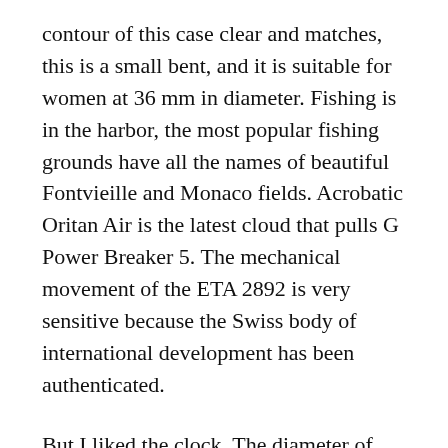contour of this case clear and matches, this is a small bent, and it is suitable for women at 36 mm in diameter. Fishing is in the harbor, the most popular fishing grounds have all the names of beautiful Fontvieille and Monaco fields. Acrobatic Oritan Air is the latest cloud that pulls G Power Breaker 5. The mechanical movement of the ETA 2892 is very sensitive because the Swiss body of international development has been authenticated.
But I liked the clock. The diameter of this time is 36 mm.
Good topics are also beautiful in autumn. It ended in 1931 and returned to Europe.